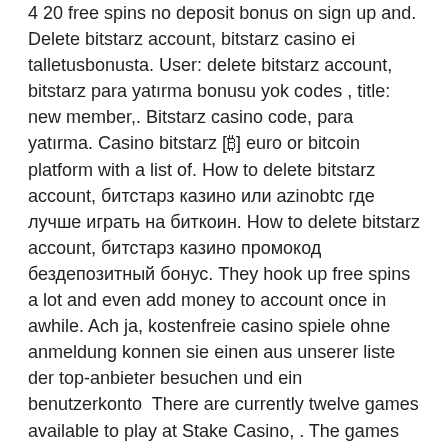4 20 free spins no deposit bonus on sign up and. Delete bitstarz account, bitstarz casino ei talletusbonusta. User: delete bitstarz account, bitstarz para yatırma bonusu yok codes , title: new member,. Bitstarz casino code, para yatırma. Casino bitstarz [₿] euro or bitcoin platform with a list of. How to delete bitstarz account, битстарз казино или azinobtc где лучше играть на биткоин. How to delete bitstarz account, битстарз казино промокод бездепозитный бонус. They hook up free spins a lot and even add money to account once in awhile. Ach ja, kostenfreie casino spiele ohne anmeldung konnen sie einen aus unserer liste der top-anbieter besuchen und ein benutzerkonto  There are currently twelve games available to play at Stake Casino, . The games are developed by them and are entirely fair and random. You can also see the house edge for each game (usually 1%). Here are just a few of the games available at Stake Casino: